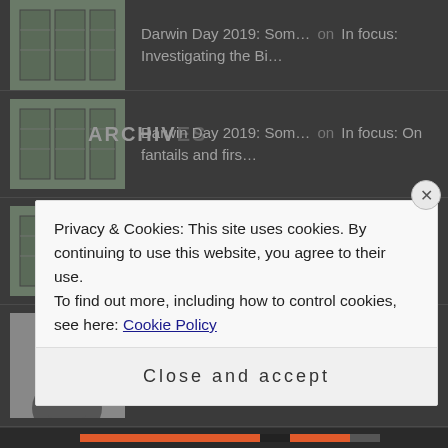Darwin Day 2019: Som… on In focus: Investigating the Bi…
Darwin Day 2019: Som… on In focus: On fantails and firs…
Guest Post: Brittle… on In focus: What's so grea…
John of the Freezers on In focus: What's so grea…
Privacy & Cookies: This site uses cookies. By continuing to use this website, you agree to their use. To find out more, including how to control cookies, see here: Cookie Policy
Close and accept